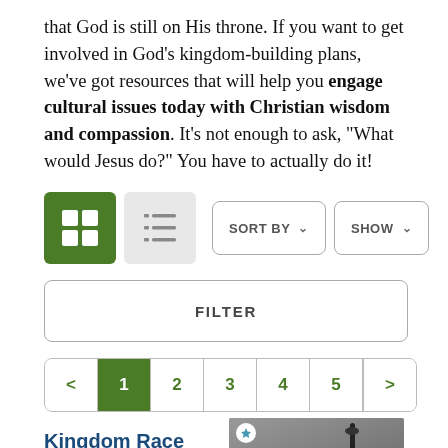that God is still on His throne. If you want to get involved in God's kingdom-building plans, we've got resources that will help you engage cultural issues today with Christian wisdom and compassion. It's not enough to ask, "What would Jesus do?" You have to actually do it!
[Figure (screenshot): Toolbar with grid view button (active, green), list view button, SORT BY dropdown, and SHOW dropdown]
[Figure (screenshot): FILTER button bar]
[Figure (screenshot): Pagination: < 1 2 3 4 5 >]
Kingdom Race Theology
Paperback  $9.71  $11.99
[Figure (photo): Book cover for 'When Helping Hurts' showing a door handle and blue oval with text WHEN HELPING HURTS]